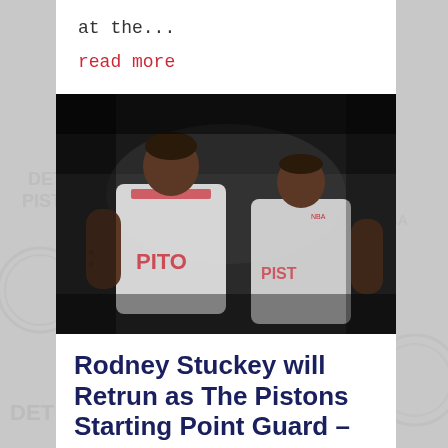at the...
read more
[Figure (photo): Two Detroit Pistons basketball players in white jerseys conversing during a game, photo in black and white tones]
Rodney Stuckey will Retrun as The Pistons Starting Point Guard –